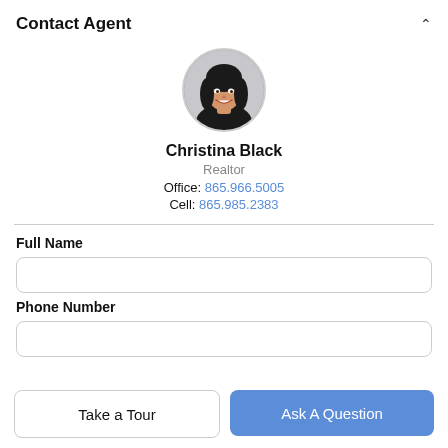Contact Agent
[Figure (photo): Circular profile photo of Christina Black, a woman with long dark hair, smiling]
Christina Black
Realtor
Office: 865.966.5005
Cell: 865.985.2383
Full Name
Phone Number
Take a Tour
Ask A Question